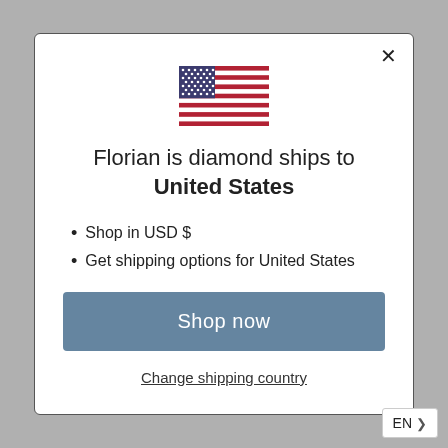[Figure (illustration): US flag icon centered above the headline]
Florian is diamond ships to United States
Shop in USD $
Get shipping options for United States
Shop now
Change shipping country
EN >